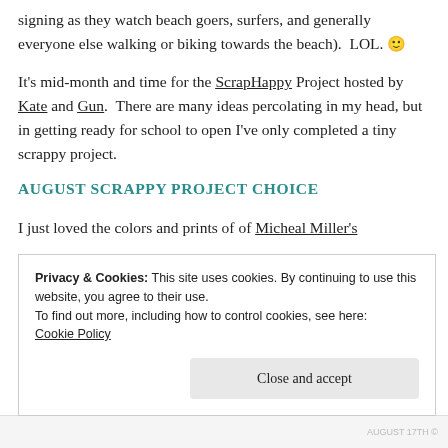signing as they watch beach goers, surfers, and generally everyone else walking or biking towards the beach).  LOL. 🙂
It's mid-month and time for the ScrapHappy Project hosted by Kate and Gun.  There are many ideas percolating in my head, but in getting ready for school to open I've only completed a tiny scrappy project.
AUGUST SCRAPPY PROJECT CHOICE
I just loved the colors and prints of of Micheal Miller's
Privacy & Cookies: This site uses cookies. By continuing to use this website, you agree to their use.
To find out more, including how to control cookies, see here:
Cookie Policy
Close and accept
AUGUST 17TH ©